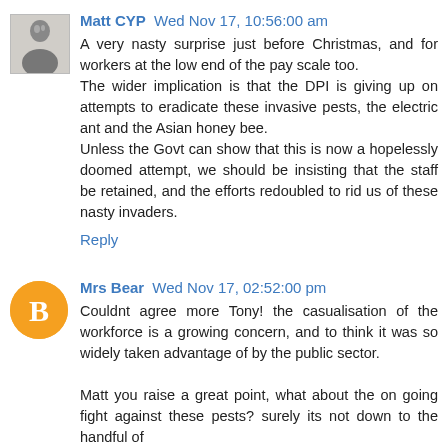[Figure (photo): Small black and white photo of a person (avatar for Matt CYP)]
Matt CYP Wed Nov 17, 10:56:00 am
A very nasty surprise just before Christmas, and for workers at the low end of the pay scale too.
The wider implication is that the DPI is giving up on attempts to eradicate these invasive pests, the electric ant and the Asian honey bee.
Unless the Govt can show that this is now a hopelessly doomed attempt, we should be insisting that the staff be retained, and the efforts redoubled to rid us of these nasty invaders.
Reply
[Figure (logo): Orange circle with white blogger 'B' icon (avatar for Mrs Bear)]
Mrs Bear Wed Nov 17, 02:52:00 pm
Couldnt agree more Tony! the casualisation of the workforce is a growing concern, and to think it was so widely taken advantage of by the public sector.

Matt you raise a great point, what about the on going fight against these pests? surely its not down to the handful of